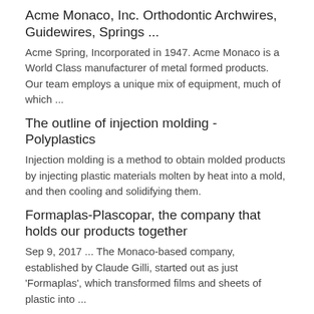Acme Monaco, Inc. Orthodontic Archwires, Guidewires, Springs ...
Acme Spring, Incorporated in 1947. Acme Monaco is a World Class manufacturer of metal formed products. Our team employs a unique mix of equipment, much of which ...
The outline of injection molding - Polyplastics
Injection molding is a method to obtain molded products by injecting plastic materials molten by heat into a mold, and then cooling and solidifying them.
Formaplas-Plascopar, the company that holds our products together
Sep 9, 2017 ... The Monaco-based company, established by Claude Gilli, started out as just 'Formaplas', which transformed films and sheets of plastic into ...
Molded Plastics manufacturers in Monaco -